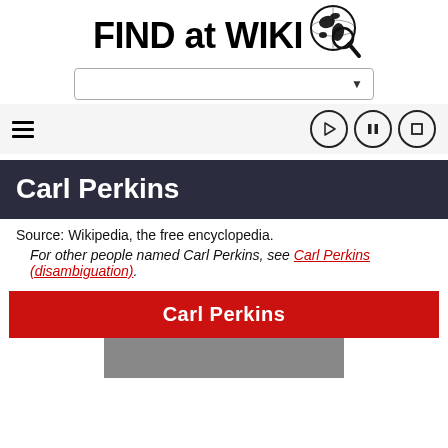[Figure (logo): FIND at WIKI logo with globe and magnifying glass icon]
[Figure (screenshot): Search bar dropdown with arrow]
[Figure (screenshot): Navigation row with hamburger menu and media control buttons (play, pause, stop)]
Carl Perkins
Source: Wikipedia, the free encyclopedia.
For other people named Carl Perkins, see Carl Perkins (disambiguation).
Carl Perkins
[Figure (photo): Partial grayscale photo of Carl Perkins]